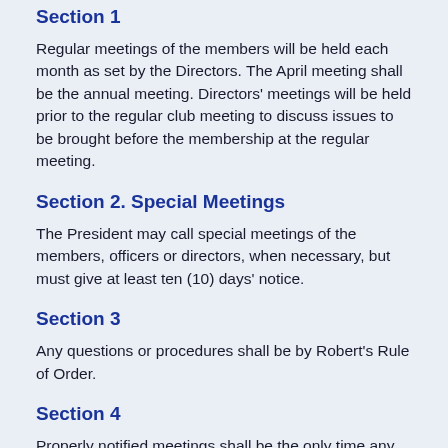Section 1
Regular meetings of the members will be held each month as set by the Directors. The April meeting shall be the annual meeting. Directors' meetings will be held prior to the regular club meeting to discuss issues to be brought before the membership at the regular meeting.
Section 2. Special Meetings
The President may call special meetings of the members, officers or directors, when necessary, but must give at least ten (10) days' notice.
Section 3
Any questions or procedures shall be by Robert's Rule of Order.
Section 4
Properly notified meetings shall be the only time any issues may be voted upon.